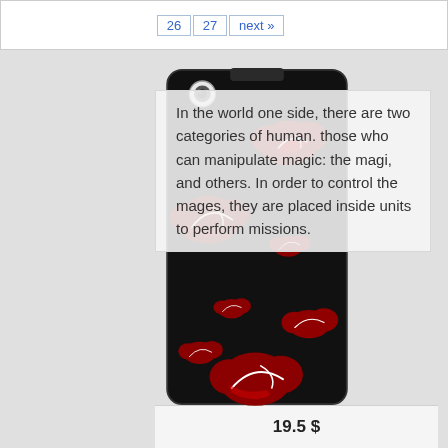[Figure (screenshot): Pagination bar showing page numbers 26, 27 and 'next »' link]
In the world one side, there are two categories of human. those who can manipulate magic: the magi, and others. In order to control the mages, they are placed inside units to perform missions.
[Figure (photo): Phone case with black background covered in red cloud patterns (Akatsuki-style clouds), with a small camera lens visible at the top]
19.5 $